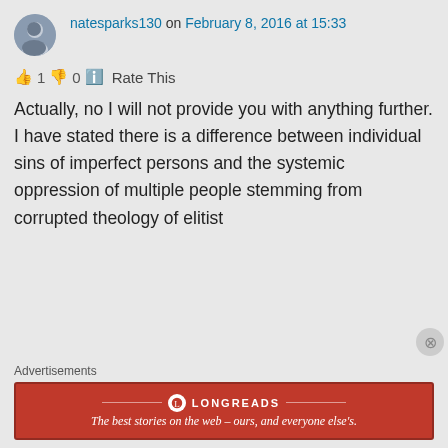natesparks130 on February 8, 2016 at 15:33
👍 1 👎 0 ℹ Rate This
Actually, no I will not provide you with anything further. I have stated there is a difference between individual sins of imperfect persons and the systemic oppression of multiple people stemming from corrupted theology of elitist
Advertisements
[Figure (other): Longreads advertisement banner: red background with Longreads logo and tagline 'The best stories on the web – ours, and everyone else's.']